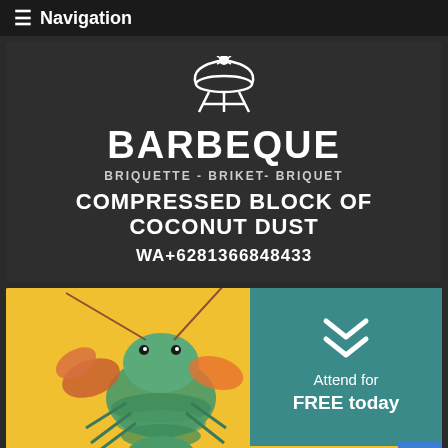≡ Navigation
[Figure (logo): Barbeque briquette brand logo with a stylized BBQ grill emblem in white on dark background]
BARBEQUE
BRIQUETTE - BRIKET- BRIQUET
COMPRESSED BLOCK OF COCONUT DUST
WA+6281366848433
[Figure (photo): Photo of a lobster on a yellow and teal background with 'Attend for FREE today' text overlay and chevron icons]